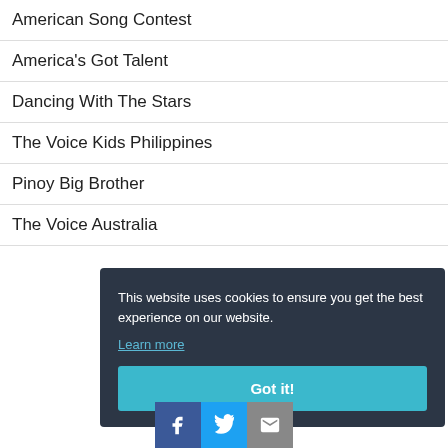American Song Contest
America's Got Talent
Dancing With The Stars
The Voice Kids Philippines
Pinoy Big Brother
The Voice Australia
This website uses cookies to ensure you get the best experience on our website.
Learn more
Got it!